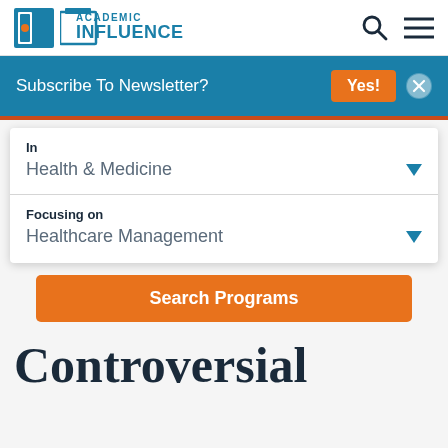ACADEMIC INFLUENCE
Subscribe To Newsletter? Yes!
In
Health & Medicine
Focusing on
Healthcare Management
Search Programs
Controversial